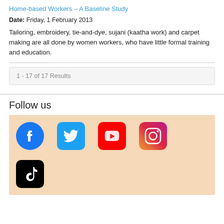Home-based Workers – A Baseline Study
Date: Friday, 1 February 2013
Tailoring, embroidery, tie-and-dye, sujani (kaatha work) and carpet making are all done by women workers, who have little formal training and education.
1 - 17 of 17 Results
Follow us
[Figure (infographic): Social media icons on a peach/tan background: Facebook (blue circle with F), Twitter (blue rounded square with bird), YouTube (red rounded square with play button), Instagram (gradient rounded square with camera), TikTok (black rounded square with note)]